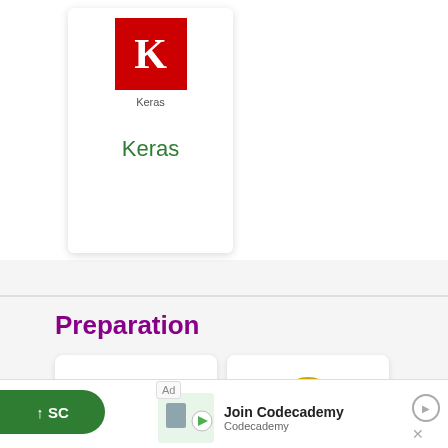[Figure (logo): Keras logo card showing red K logo and green 'Keras' text link]
Preparation
[Figure (illustration): Aptitude card with gears-in-head icon and green 'Aptitude' label]
[Figure (illustration): Reasoning card with reasoning badge icon and green 'Reasoning' label]
[Figure (screenshot): Advertisement banner: Join Codecademy - Codecademy, with scroll-to-top button]